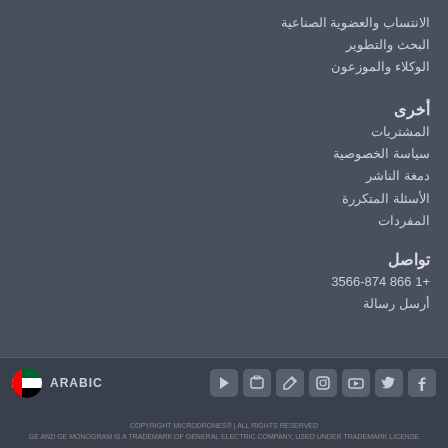الانتساب والعضوية الصناعية
البحث والتطوير
الوكلاء والموزعون
أخرى
المشتريات
سياسة الخصوصية
دمغة الناشر
الأسئلة المتكررة
المفردات
تواصل
+1  866 3566-874
أرسل رسالة
Disallowed Key Characters.
ARABIC
COPYRIGHT MICRODRONES® | ALL RIGHTS RESERVED
GE AND GE MONOGRAM IS A TRADEMARK OF GENERAL ELECTRIC COMPANY, USED UNDER TRADEMARK LICENSE